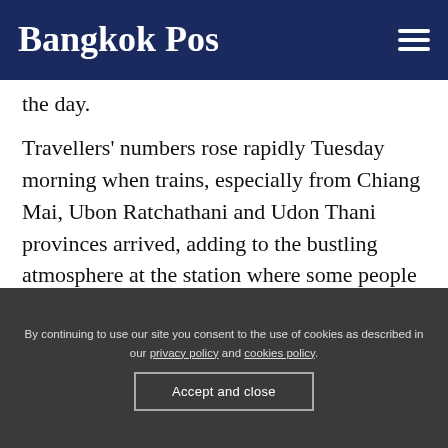Bangkok Post
the day.
Travellers' numbers rose rapidly Tuesday morning when trains, especially from Chiang Mai, Ubon Ratchathani and Udon Thani provinces arrived, adding to the bustling atmosphere at the station where some people were still seen queuing up to buy tickets to travel upcountry.
By continuing to use our site you consent to the use of cookies as described in our privacy policy and cookies policy.
Accept and close